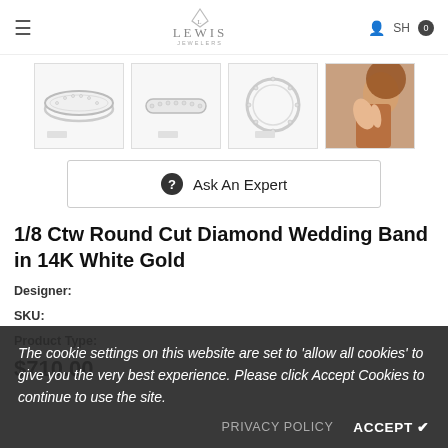Lewis Jewelers — navigation header with menu, search, and shop icons
[Figure (photo): Four product thumbnail images: three showing a round-cut diamond wedding band ring from different angles, and one showing a model wearing the ring]
Ask An Expert
1/8 Ctw Round Cut Diamond Wedding Band in 14K White Gold
Designer: (partially visible)
SKU: (partially visible)
Product Type: (partially visible)
The cookie settings on this website are set to 'allow all cookies' to give you the very best experience. Please click Accept Cookies to continue to use the site.
PRIVACY POLICY   ACCEPT ✔
$710.00